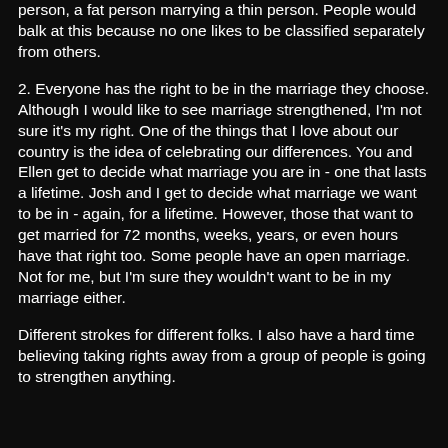person, a fat person marrying a thin person. People would balk at this because no one likes to be classified separately from others.
2. Everyone has the right to be in the marriage they choose. Although I would like to see marriage strengthened, I'm not sure it's my right. One of the things that I love about our country is the idea of celebrating our differences. You and Ellen get to decide what marriage you are in - one that lasts a lifetime. Josh and I get to decide what marriage we want to be in - again, for a lifetime. However, those that want to get married for 72 months, weeks, years, or even hours have that right too. Some people have an open marriage. Not for me, but I'm sure they wouldn't want to be in my marriage either.
Different strokes for different folks. I also have a hard time believing taking rights away from a group of people is going to strengthen anything.